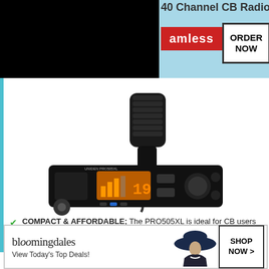[Figure (screenshot): Top banner with black block, red 'amless' button, and ORDER NOW button on light blue background showing '40 Channel CB Radio' text]
[Figure (photo): CB Radio product photo - Uniden PRO505XL 40-channel CB radio with handheld microphone, orange display showing signal bars, and channel number]
COMPACT & AFFORDABLE; The PRO505XL is ideal for CB users seeking an affordable CB Radio with Public Address, Instant Channel 9 Emergency Button, Channel Up/Down Buttons, and S/RF Meter.
DURABLE & EASY TO USE; The PRO505X
[Figure (screenshot): Bloomingdales advertisement banner: 'bloomingdales View Today's Top Deals!' with woman in hat and SHOP NOW button]